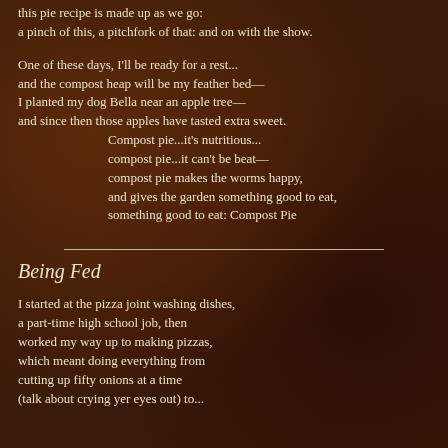this pie recipe is made up as we go:
a pinch of this, a pitchfork of that: and on with the show.
One of these days, I'll be ready for a rest...
and the compost heap will be my feather bed—
I planted my dog Bella near an apple tree—
and since then those apples have tasted extra sweet.
    Compost pie...it's nutritious...
    compost pie...it can't be beat—
    compost pie makes the worms happy,
    and gives the garden something good to eat,
    something good to eat: Compost Pie
Being Fed
I started at the pizza joint washing dishes,
a part-time high school job, then
worked my way up to making pizzas,
which meant doing everything from
cutting up fifty onions at a time
(talk about crying yer eyes out) to...